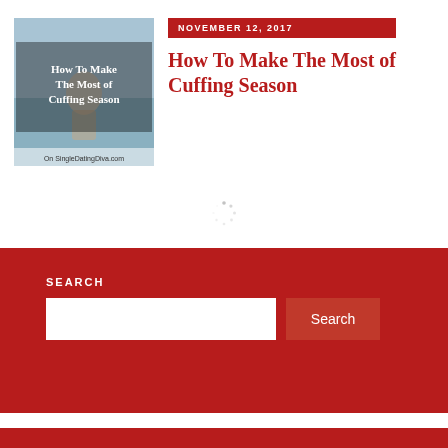[Figure (illustration): Thumbnail image with text overlay reading 'How To Make The Most of Cuffing Season' on a light blue/grey background with a person visible. Bottom text reads 'On SingleDatingDiva.com']
NOVEMBER 12, 2017
How To Make The Most of Cuffing Season
[Figure (other): Loading spinner icon]
SEARCH
Search